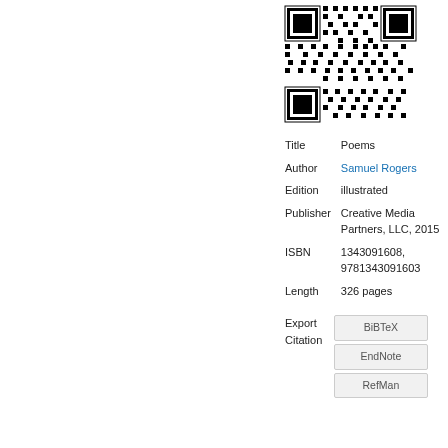[Figure (other): QR code image]
| Title | Poems |
| Author | Samuel Rogers |
| Edition | illustrated |
| Publisher | Creative Media Partners, LLC, 2015 |
| ISBN | 1343091608, 9781343091603 |
| Length | 326 pages |
| Export Citation | BiBTeX | EndNote | RefMan |